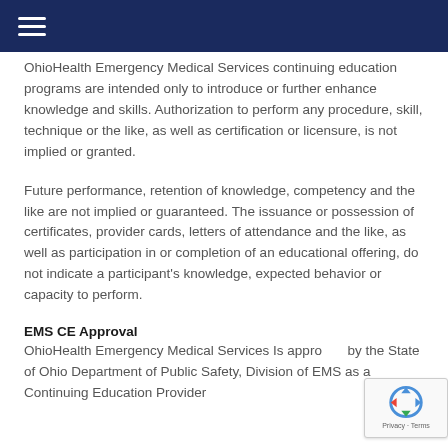≡
OhioHealth Emergency Medical Services continuing education programs are intended only to introduce or further enhance knowledge and skills. Authorization to perform any procedure, skill, technique or the like, as well as certification or licensure, is not implied or granted.
Future performance, retention of knowledge, competency and the like are not implied or guaranteed. The issuance or possession of certificates, provider cards, letters of attendance and the like, as well as participation in or completion of an educational offering, do not indicate a participant's knowledge, expected behavior or capacity to perform.
EMS CE Approval
OhioHealth Emergency Medical Services Is appro... by the State of Ohio Department of Public Safety, Division of EMS as a Continuing Education Provider